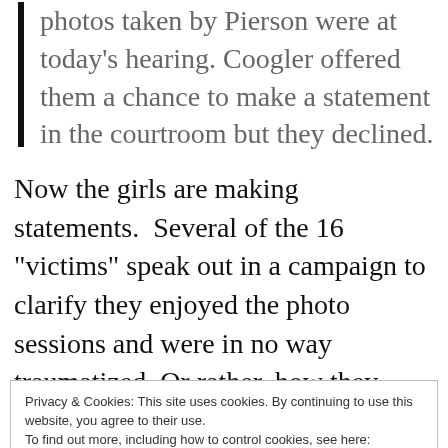photos taken by Pierson were at today's hearing. Coogler offered them a chance to make a statement in the courtroom but they declined.
Now the girls are making statements.  Several of the 16 "victims" speak out in a campaign to clarify they enjoyed the photo sessions and were in no way traumatized. Or rather, how they were severely traumatized by the hysteria in press and the police prosecution.
Privacy & Cookies: This site uses cookies. By continuing to use this website, you agree to their use.
To find out more, including how to control cookies, see here: Cookie Policy
of their lives anymore, and I don't